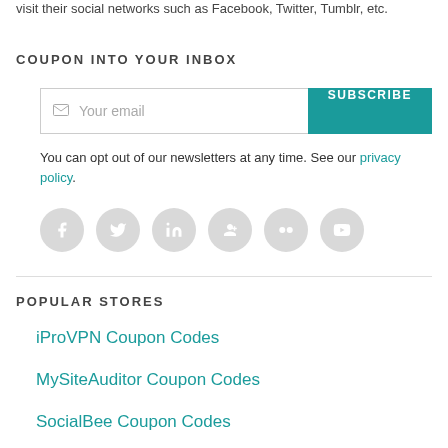visit their social networks such as Facebook, Twitter, Tumblr, etc.
COUPON INTO YOUR INBOX
[Figure (other): Email subscription form with 'Your email' input field and 'SUBSCRIBE' teal button]
You can opt out of our newsletters at any time. See our privacy policy.
[Figure (other): Six circular social media icons (Facebook, Twitter, LinkedIn, Google+, Flickr, YouTube) in light grey]
POPULAR STORES
iProVPN Coupon Codes
MySiteAuditor Coupon Codes
SocialBee Coupon Codes